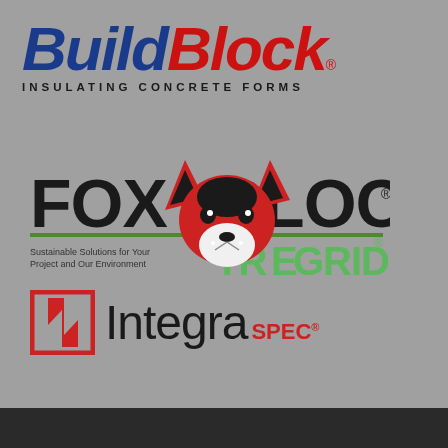[Figure (logo): BuildBlock Insulating Concrete Forms logo with 'Build' in blue bold italic and 'Block' in red bold italic, subtitle 'INSULATING CONCRETE FORMS' in spaced dark text]
[Figure (logo): Fox Blocks TrueGrid logo with red fox head illustration, 'FOX BLOCKS' in bold black, 'TRUEGRID' in green, tagline 'Sustainable Solutions for Your Project and Our Environment']
[Figure (logo): Integra SPEC registered trademark logo with red geometric icon on left and 'Integra SPEC' text]
[Figure (other): Dark footer bar at bottom of page]